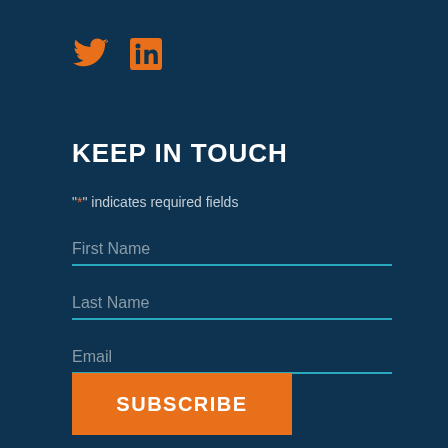[Figure (logo): Twitter bird icon (orange) and LinkedIn square icon (orange) social media logos]
KEEP IN TOUCH
"*" indicates required fields
First Name
Last Name
Email
SUBSCRIBE